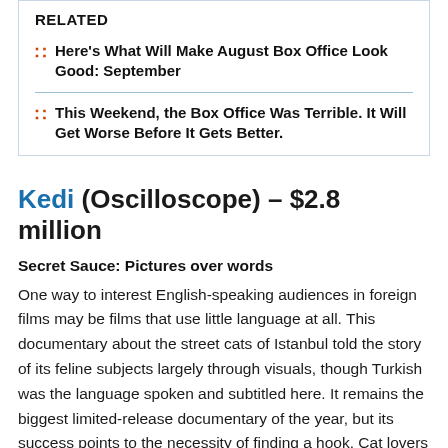RELATED
Here's What Will Make August Box Office Look Good: September
This Weekend, the Box Office Was Terrible. It Will Get Worse Before It Gets Better.
Kedi (Oscilloscope) – $2.8 million
Secret Sauce: Pictures over words
One way to interest English-speaking audiences in foreign films may be films that use little language at all. This documentary about the street cats of Istanbul told the story of its feline subjects largely through visuals, though Turkish was the language spoken and subtitled here. It remains the biggest limited-release documentary of the year, but its success points to the necessity of finding a hook. Cat lovers flocked to the film, which was relatively